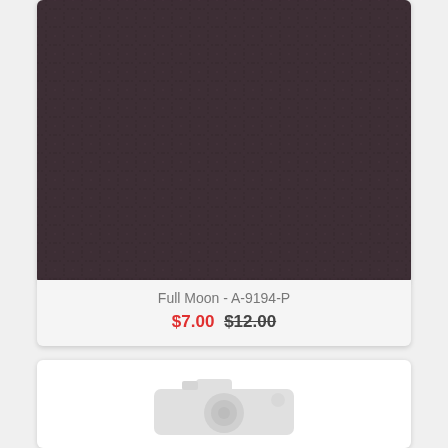[Figure (photo): Dark brownish-purple fabric with a grid/cross-stitch pattern texture]
Full Moon - A-9194-P
$7.00 $12.00
[Figure (photo): Placeholder image with camera icon on white background]